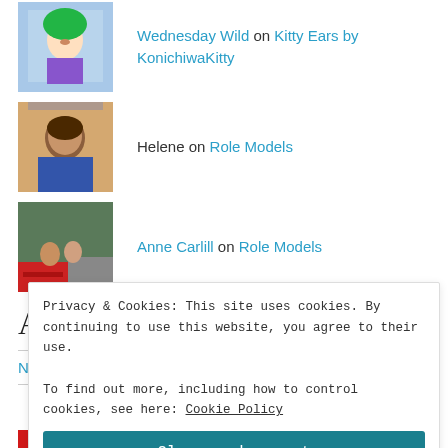Wednesday Wild on Kitty Ears by KonichiwaKitty
Helene on Role Models
Anne Carlill on Role Models
Archives
November 2019
Privacy & Cookies: This site uses cookies. By continuing to use this website, you agree to their use.
To find out more, including how to control cookies, see here: Cookie Policy
Close and accept